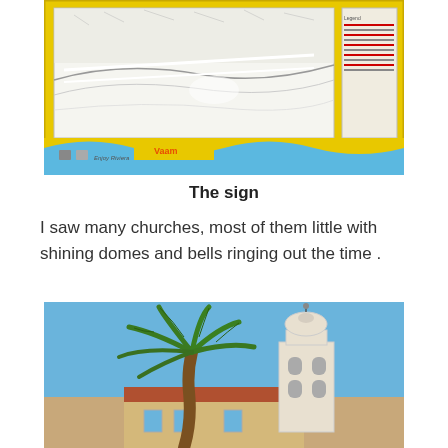[Figure (photo): A large yellow tourist information sign with a map of a coastal town, blue wave design at the bottom, and a legend panel on the right side.]
The sign
I saw many churches, most of them little with shining domes and bells ringing out the time .
[Figure (photo): A photo showing a palm tree on the left and a white church bell tower with a small dome on the right, against a clear blue sky, with terracotta-roofed buildings in the foreground.]